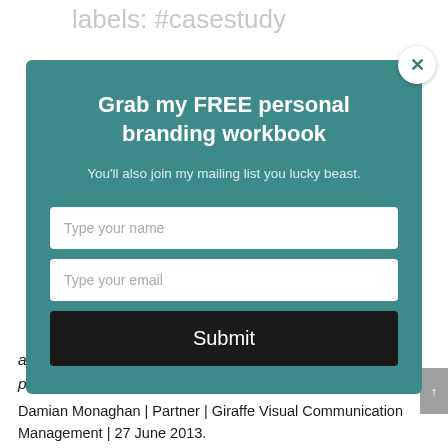[Figure (screenshot): A website popup modal with teal background. Title reads 'Grab my FREE personal branding workbook'. Subtitle: 'You'll also join my mailing list you lucky beast.' Two input fields: 'Type your name' and 'Type your email'. A dark Submit button. Close X button top right. Behind the modal, faded background text 'labels: #casestudy' is partially visible at the top.]
anymore! I look forward to collaborating with Kate on projects again."
Damian Monaghan | Partner | Giraffe Visual Communication Management | 27 June 2013.